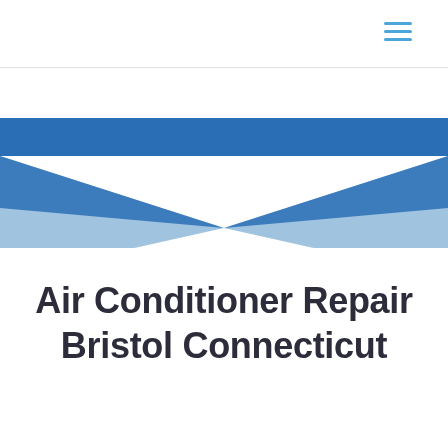[Figure (illustration): Decorative bow-tie / hourglass shaped graphic made of overlapping blue triangles on a white background. Two triangles point inward from the left and right edges meeting at the center, in dark blue and light blue colors.]
Air Conditioner Repair Bristol Connecticut